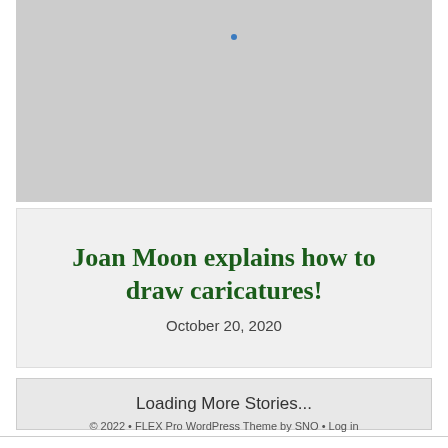[Figure (photo): Gray placeholder image area with a small blue dot near the top center]
Joan Moon explains how to draw caricatures!
October 20, 2020
Loading More Stories...
© 2022 • FLEX Pro WordPress Theme by SNO • Log in